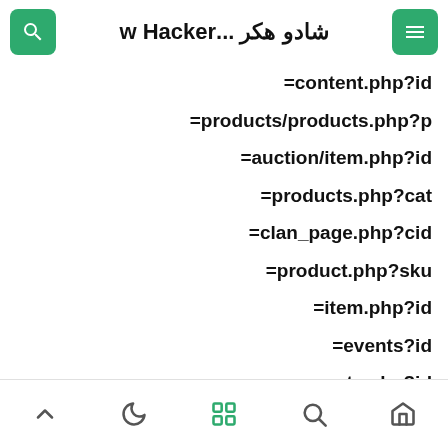شادو هكر ...w Hacker
=content.php?id
=products/products.php?p
=auction/item.php?id
=products.php?cat
=clan_page.php?cid
=product.php?sku
=item.php?id
=events?id
=comments.php?id
=products/?catID
=****?modules.php
navigation icons: up, moon, grid, search, home